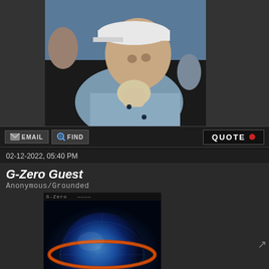[Figure (photo): Cropped photo of a person wearing a white cap and light blue clothing, with a bandaged hand near their face, sitting in what appears to stadium or event seating]
EMAIL
FIND
QUOTE
02-12-2022, 05:40 PM
G-Zero Guest
Anonymous/Grounded
[Figure (illustration): Dark blue sphere or globe with orange/red ring around it on black background — appears to be a stylized G-Zero logo]
RE: Aris deploys police as convoy protesting Covid rules approaches capital